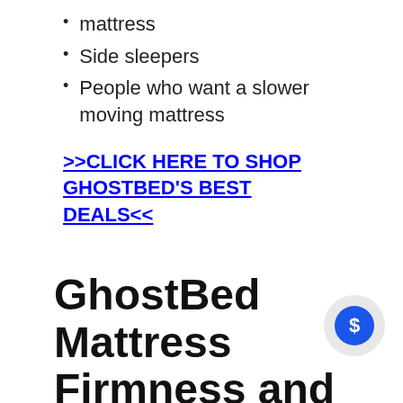mattress
Side sleepers
People who want a slower moving mattress
>>CLICK HERE TO SHOP GHOSTBED'S BEST DEALS<<
GhostBed Mattress Firmness and Feel
When we review a mattress, we usually look